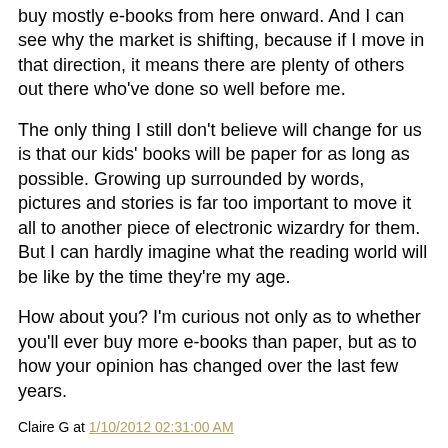buy mostly e-books from here onward. And I can see why the market is shifting, because if I move in that direction, it means there are plenty of others out there who've done so well before me.
The only thing I still don't believe will change for us is that our kids' books will be paper for as long as possible. Growing up surrounded by words, pictures and stories is far too important to move it all to another piece of electronic wizardry for them. But I can hardly imagine what the reading world will be like by the time they're my age.
How about you? I'm curious not only as to whether you'll ever buy more e-books than paper, but as to how your opinion has changed over the last few years.
Claire G at 1/10/2012 02:31:00 AM
8 comments:
S.P. Bowers January 10, 2012 at 5:46 AM